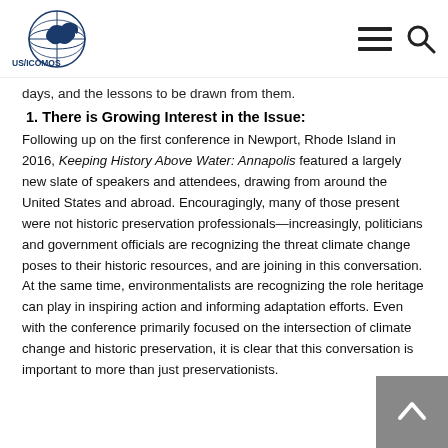US/ICOMOS
days, and the lessons to be drawn from them.
1. There is Growing Interest in the Issue:
Following up on the first conference in Newport, Rhode Island in 2016, Keeping History Above Water: Annapolis featured a largely new slate of speakers and attendees, drawing from around the United States and abroad. Encouragingly, many of those present were not historic preservation professionals—increasingly, politicians and government officials are recognizing the threat climate change poses to their historic resources, and are joining in this conversation. At the same time, environmentalists are recognizing the role heritage can play in inspiring action and informing adaptation efforts. Even with the conference primarily focused on the intersection of climate change and historic preservation, it is clear that this conversation is important to more than just preservationists.